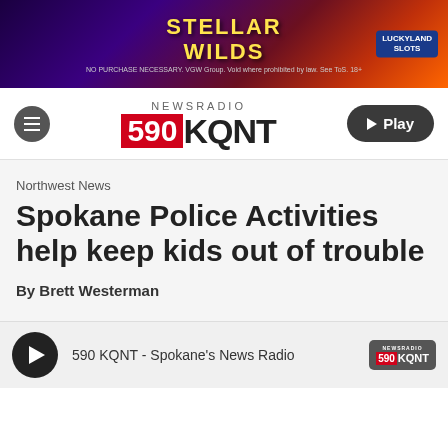[Figure (other): Stellar Wilds advertisement banner for LuckyLand Slots with colorful space-themed background. Text: STELLAR WILDS, NO PURCHASE NECESSARY. VGW Group. Void where prohibited by law. See ToS. 18+, LUCKYLAND SLOTS]
[Figure (logo): NewsRadio 590 KQNT logo with hamburger menu icon on left and Play button on right]
Northwest News
Spokane Police Activities help keep kids out of trouble
By Brett Westerman
[Figure (other): Audio player bar: play button, text '590 KQNT - Spokane's News Radio', and 590 KQNT logo badge]